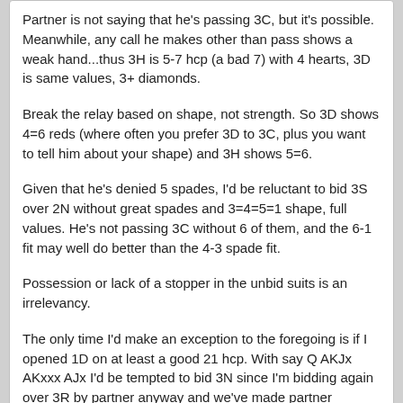Partner is not saying that he's passing 3C, but it's possible. Meanwhile, any call he makes other than pass shows a weak hand...thus 3H is 5-7 hcp (a bad 7) with 4 hearts, 3D is same values, 3+ diamonds.
Break the relay based on shape, not strength. So 3D shows 4=6 reds (where often you prefer 3D to 3C, plus you want to tell him about your shape) and 3H shows 5=6.
Given that he's denied 5 spades, I'd be reluctant to bid 3S over 2N without great spades and 3=4=5=1 shape, full values. He's not passing 3C without 6 of them, and the 6-1 fit may well do better than the 4-3 spade fit.
Possession or lack of a stopper in the unbid suits is an irrelevancy.
The only time I'd make an exception to the foregoing is if I opened 1D on at least a good 21 hcp. With say Q AKJx AKxxx AJx I'd be tempted to bid 3N since I'm bidding again over 3R by partner anyway and we've made partner declarer in notrump no matter what I do.
paulsim